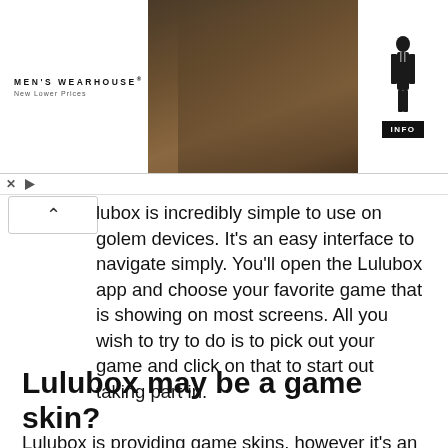[Figure (photo): Men's Wearhouse advertisement banner showing a couple dressed formally and a man in a tuxedo, with an INFO button]
lubox is incredibly simple to use on golem devices. It's an easy interface to navigate simply. You'll open the Lulubox app and choose your favorite game that is showing on most screens. All you wish to try to do is to pick out your game and click on that to start out taking part in.
Lulubox may be a game skin?
Lulubox is providing game skins, however it's an associate golem app acting as a game skin provider. You might to use as a game